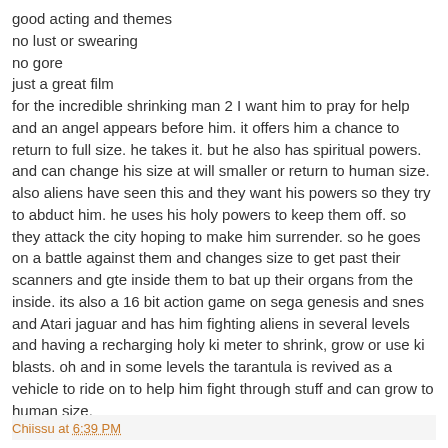good acting and themes
no lust or swearing
no gore
just a great film
for the incredible shrinking man 2 I want him to pray for help and an angel appears before him. it offers him a chance to return to full size. he takes it. but he also has spiritual powers. and can change his size at will smaller or return to human size. also aliens have seen this and they want his powers so they try to abduct him. he uses his holy powers to keep them off. so they attack the city hoping to make him surrender. so he goes on a battle against them and changes size to get past their scanners and gte inside them to bat up their organs from the inside. its also a 16 bit action game on sega genesis and snes and Atari jaguar and has him fighting aliens in several levels and having a recharging holy ki meter to shrink, grow or use ki blasts. oh and in some levels the tarantula is revived as a vehicle to ride on to help him fight through stuff and can grow to human size.
Chiissu at 6:39 PM